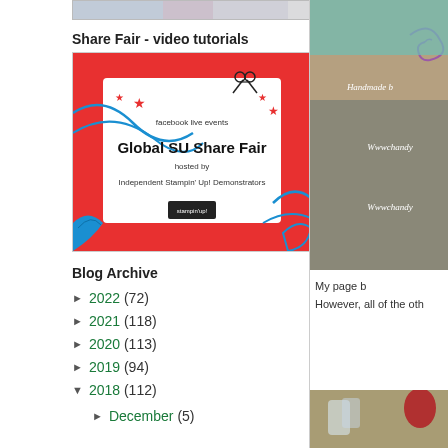[Figure (photo): Top image strip, partially visible]
Share Fair - video tutorials
[Figure (illustration): Global SU Share Fair banner: facebook live events, Global SU Share Fair, hosted by Independent Stampin' Up! Demonstrators. Red and white design with scissors and decorative elements.]
Blog Archive
► 2022 (72)
► 2021 (118)
► 2020 (113)
► 2019 (94)
▼ 2018 (112)
► December (5)
[Figure (photo): Right column top photo: handmade card or gift wrap with text 'Handmade by', 'Wwwchandy', 'Wwwchandy' on kraft and grey background]
My page b… However, all of the oth…
[Figure (photo): Right column bottom photo: table scene with glasses and red items]